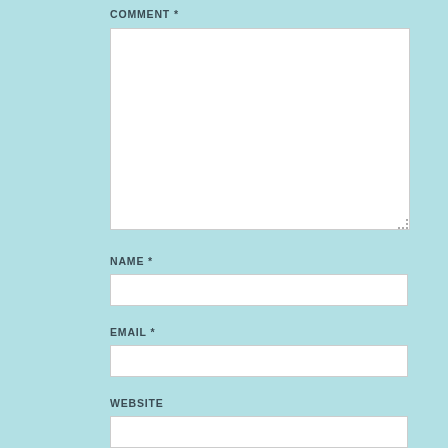COMMENT *
[Figure (screenshot): Large white textarea input box for comment entry, with a resize handle in the bottom-right corner]
NAME *
[Figure (screenshot): Single-line white text input box for name]
EMAIL *
[Figure (screenshot): Single-line white text input box for email]
WEBSITE
[Figure (screenshot): Single-line white text input box for website]
Post Comment
NOTIFY ME OF NEW COMMENTS VIA